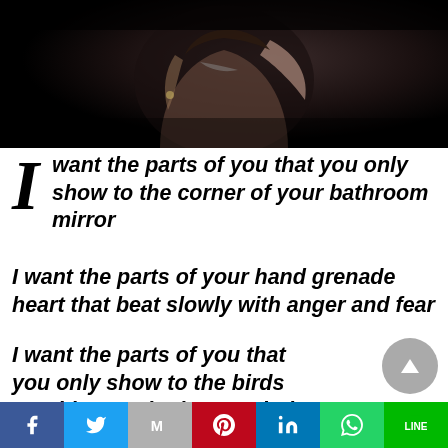[Figure (photo): Dark moody photo of a woman seen from behind, partially bare back and shoulders, long hair, dark background]
I want the parts of you that you only show to the corner of your bathroom mirror
I want the parts of your hand grenade heart that beat slowly with anger and fear
I want the parts of you that you only show to the birds outside your bedroom window